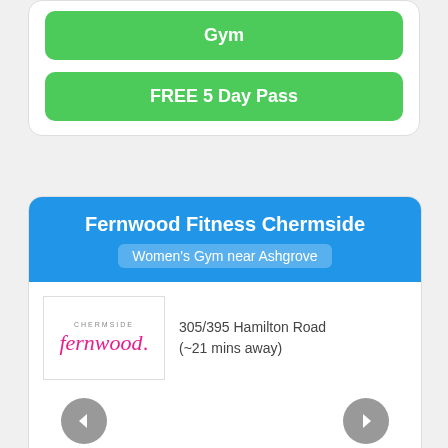[Figure (screenshot): Green button labeled 'Gym' (top partially visible)]
[Figure (screenshot): Green button labeled 'FREE 5 Day Pass']
Fernwood Fitness Chermside
Women's Gym near Ashgrove
305/395 Hamilton Road (~21 mins away)
[Figure (logo): Fernwood Chermside logo in pink italic script]
✓Gym  ✓Cardio  ✓Yoga  ✓Zumba